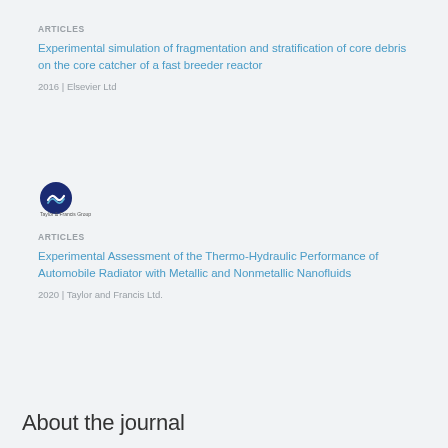ARTICLES
Experimental simulation of fragmentation and stratification of core debris on the core catcher of a fast breeder reactor
2016 | Elsevier Ltd
[Figure (logo): Taylor and Francis Group logo — dark blue circle with stylized book/wave graphic and text below reading 'Taylor & Francis Group']
ARTICLES
Experimental Assessment of the Thermo-Hydraulic Performance of Automobile Radiator with Metallic and Nonmetallic Nanofluids
2020 | Taylor and Francis Ltd.
About the journal